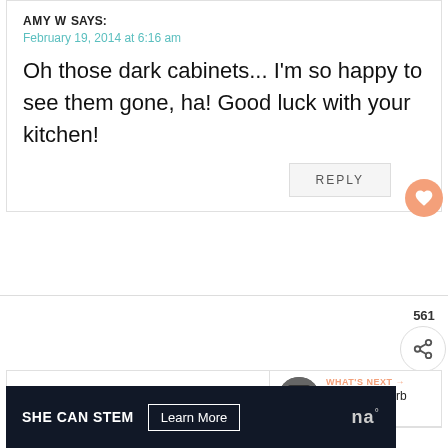AMY W SAYS:
February 19, 2014 at 6:16 am
Oh those dark cabinets... I'm so happy to see them gone, ha! Good luck with your kitchen!
REPLY
561
WOODSOFBELLTREES SAYS:
February 19, 2014 at 8:24 am
WHAT'S NEXT → Give your Curb Appeal...
[Figure (screenshot): Advertisement banner: SHE CAN STEM with Learn More button on dark background]